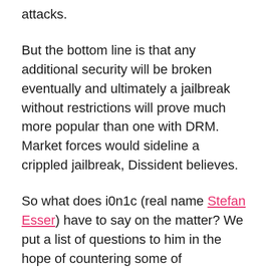attacks.
But the bottom line is that any additional security will be broken eventually and ultimately a jailbreak without restrictions will prove much more popular than one with DRM. Market forces would sideline a crippled jailbreak, Dissident believes.
So what does i0n1c (real name Stefan Esser) have to say on the matter? We put a list of questions to him in the hope of countering some of Dissident’s points and vice-versa, but the response we received was quite unexpected.
Esser began by pointing us towards some of the